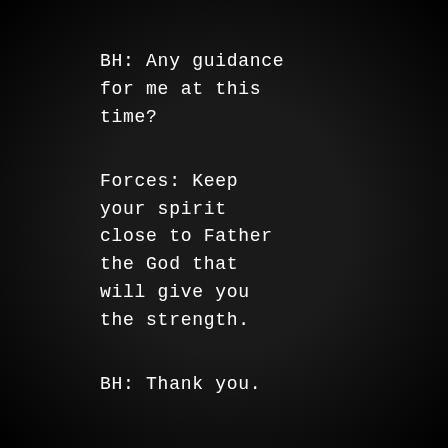BH: Any guidance for me at this time?
Forces: Keep your spirit close to Father the God that will give you the strength.
BH: Thank you.